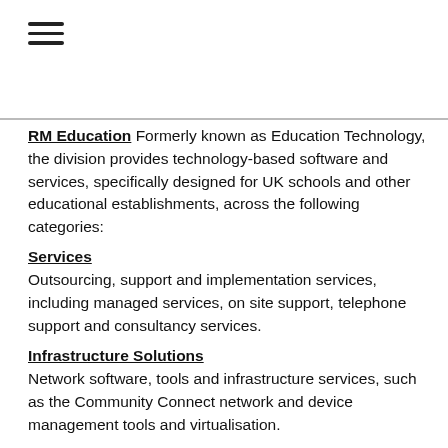RM Education Formerly known as Education Technology, the division provides technology-based software and services, specifically designed for UK schools and other educational establishments, across the following categories:
Services
Outsourcing, support and implementation services, including managed services, on site support, telephone support and consultancy services.
Infrastructure Solutions
Network software, tools and infrastructure services, such as the Community Connect network and device management tools and virtualisation.
Digital Platforms and Content
Access to curriculum resources and school management solutions, including RM Integris school management systems, RM Unify 'launch pad to the cloud', RM Books e-book system, RM Easimaths and RM Easisteach